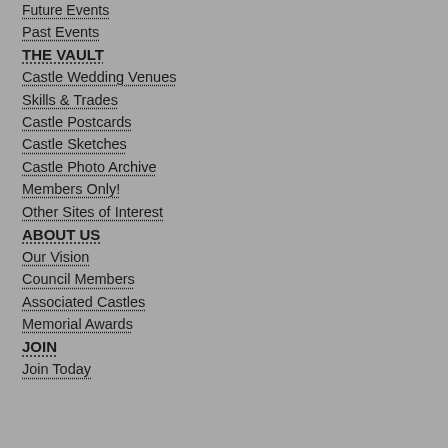Future Events
Past Events
THE VAULT
Castle Wedding Venues
Skills & Trades
Castle Postcards
Castle Sketches
Castle Photo Archive
Members Only!
Other Sites of Interest
ABOUT US
Our Vision
Council Members
Associated Castles
Memorial Awards
JOIN
Join Today